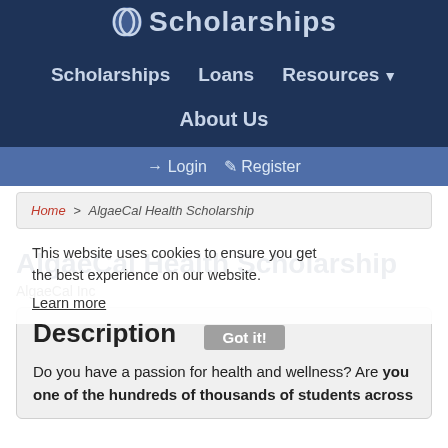[Figure (logo): eScholarships logo with circular icon and text 'Scholarships']
Scholarships   Loans   Resources ▼   About Us
→ Login  ✎ Register
Home > AlgaeCal Health Scholarship
AlgaeCal Health Scholarship
AlgaeCal Inc
This website uses cookies to ensure you get the best experience on our website.
Learn more
Description
Got it!
Do you have a passion for health and wellness? Are you one of the hundreds of thousands of students across